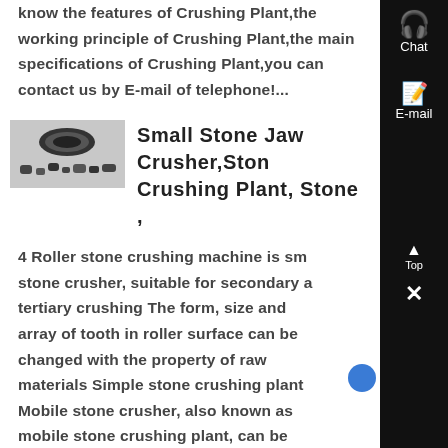know the features of Crushing Plant,the working principle of Crushing Plant,the main specifications of Crushing Plant,you can contact us by E-mail of telephone!...
[Figure (photo): Thumbnail image of stone crusher machine parts showing rollers and crushed stones]
Small Stone Jaw Crusher,Stone Crushing Plant, Stone ,
4 Roller stone crushing machine is small stone crusher, suitable for secondary and tertiary crushing The form, size and array of tooth in roller surface can be changed with the property of raw materials Simple stone crushing plant Mobile stone crusher, also known as mobile stone crushing plant, can be regarded as a simple stone production